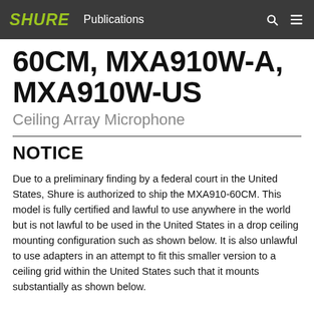SHURE Publications
60CM, MXA910W-A, MXA910W-US
Ceiling Array Microphone
NOTICE
Due to a preliminary finding by a federal court in the United States, Shure is authorized to ship the MXA910-60CM. This model is fully certified and lawful to use anywhere in the world but is not lawful to be used in the United States in a drop ceiling mounting configuration such as shown below. It is also unlawful to use adapters in an attempt to fit this smaller version to a ceiling grid within the United States such that it mounts substantially as shown below.